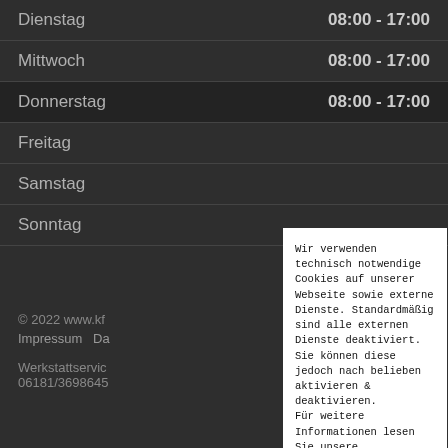Dienstag  08:00 - 17:00
Mittwoch  08:00 - 17:00
Donnerstag  08:00 - 17:00
Freitag
Samstag
Sonntag
© 2022 www.kf...
Impressum  Da...
Werkstattservic...
06181/3698645
Wir verwenden technisch notwendige Cookies auf unserer Webseite sowie externe Dienste. Standardmäßig sind alle externen Dienste deaktiviert. Sie können diese jedoch nach belieben aktivieren & deaktivieren.
Für weitere Informationen lesen Sie unsere Datenschutzbestimmungen.
alle akzeptieren
Einstellungen oder ablehnen